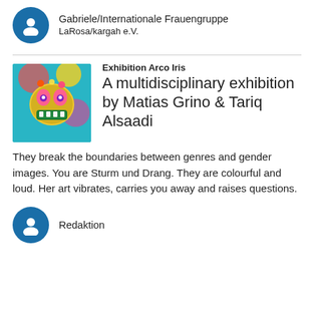Gabriele/Internationale Frauengruppe LaRosa/kargah e.V.
Exhibition Arco Iris
A multidisciplinary exhibition by Matias Grino & Tariq Alsaadi
[Figure (illustration): Colorful graffiti-style artwork of a stylized monster face with bright colors]
They break the boundaries between genres and gender images. You are Sturm und Drang. They are colourful and loud. Her art vibrates, carries you away and raises questions.
Redaktion